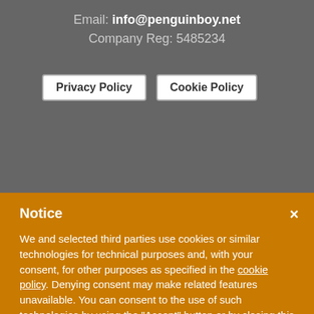Email: info@penguinboy.net
Company Reg: 5485234
Privacy Policy
Cookie Policy
Notice
We and selected third parties use cookies or similar technologies for technical purposes and, with your consent, for other purposes as specified in the cookie policy. Denying consent may make related features unavailable. You can consent to the use of such technologies by using the “Accept” button or by closing this notice.
Accept
Learn more and customize